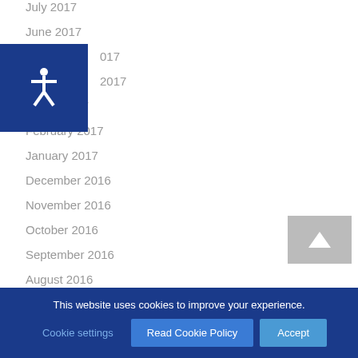July 2017
June 2017
May 2017
April 2017
March 2017
February 2017
January 2017
December 2016
November 2016
October 2016
September 2016
August 2016
July 2016
This website uses cookies to improve your experience.
Cookie settings | Read Cookie Policy | Accept